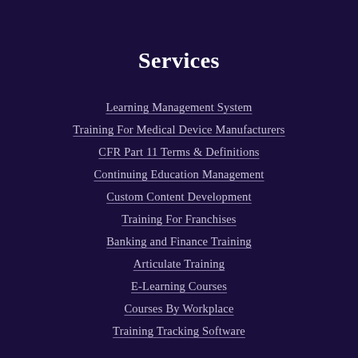Services
Learning Management System
Training For Medical Device Manufacturers
CFR Part 11 Terms & Definitions
Continuing Education Management
Custom Content Development
Training For Franchises
Banking and Finance Training
Articulate Training
E-Learning Courses
Courses By Workplace
Training Tracking Software